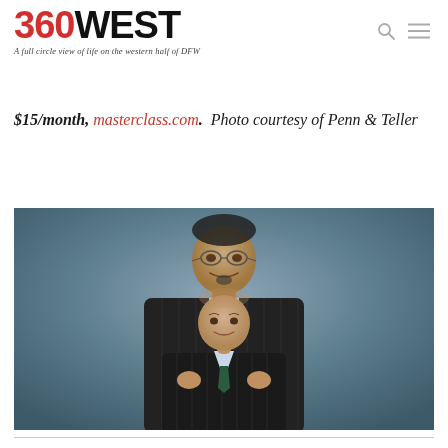360WEST — A full circle view of life on the western half of DFW
$15/month, masterclass.com.  Photo courtesy of Penn & Teller
[Figure (photo): Professional portrait photo of Penn & Teller, two magicians in dark pinstripe suits. Penn (taller) stands behind, Teller (shorter) is in front. Both face the camera against a gray studio background.]